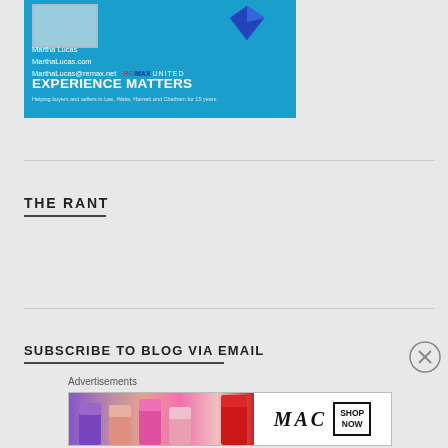[Figure (advertisement): RE/MAX United advertisement featuring Martha Lucas. Blue background with portrait photo, diamond logo, contact info (MarthaLucas.com, MarthaLucas@remax.net), and text 'EXPERIENCE MATTERS - Helping buyers and sellers in Lee, Wake, Harnett and Chatham for 15 years']
THE RANT
SUBSCRIBE TO BLOG VIA EMAIL
Advertisements
[Figure (advertisement): MAC Cosmetics advertisement showing colorful lipsticks (purple, peach, pink, red) with MAC logo in italic serif font and 'SHOP NOW' button in a box]